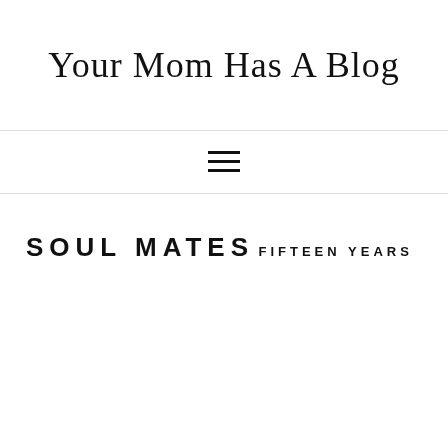Your Mom Has A Blog
[Figure (other): Hamburger menu icon — three horizontal lines]
SOUL MATES
FIFTEEN YEARS